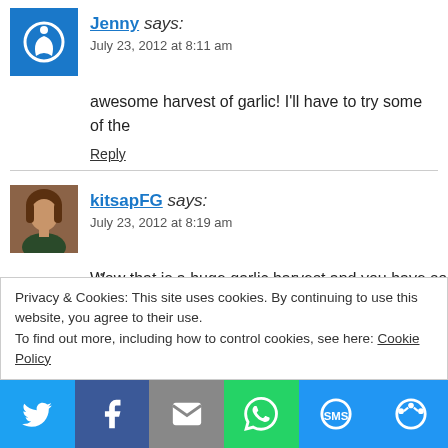Jenny says: July 23, 2012 at 8:11 am
awesome harvest of garlic! I'll have to try some of the
Reply
kitsapFG says: July 23, 2012 at 8:19 am
Wow that is a huge garlic harvest and you have so man adding another soft neck variety to my planting this fal based on a recommendation of a gardening friend. Hav if so, did you like it?
Privacy & Cookies: This site uses cookies. By continuing to use this website, you agree to their use.
To find out more, including how to control cookies, see here: Cookie Policy